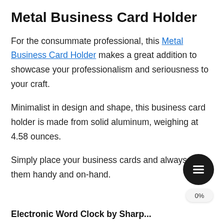Metal Business Card Holder
For the consummate professional, this Metal Business Card Holder makes a great addition to showcase your professionalism and seriousness to your craft.
Minimalist in design and shape, this business card holder is made from solid aluminum, weighing at 4.58 ounces.
Simply place your business cards and always have them handy and on-hand.
Electronic Word Clock by Sharp...